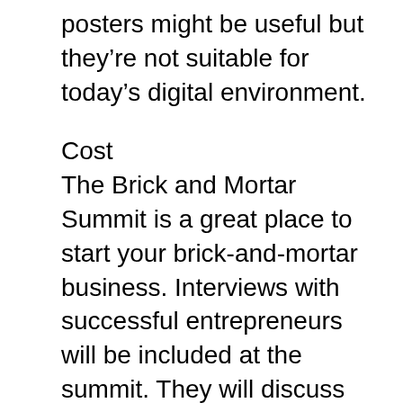posters might be useful but they’re not suitable for today’s digital environment.
Cost
The Brick and Mortar Summit is a great place to start your brick-and-mortar business. Interviews with successful entrepreneurs will be included at the summit. They will discuss their strategies for creating a sales funnel. The webinars can be viewed for free, however, they are not available long. The interview videos are available for accessible for just four days.
There are two options to attend the Brick and Mortar Summit: either you can pay an all-in-one payment or pay monthly. This option is for brick and mortar businesses